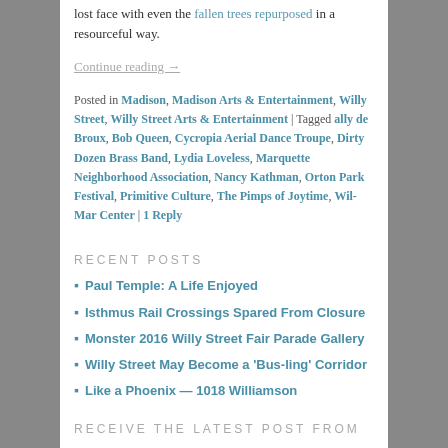lost face with even the fallen trees repurposed in a resourceful way.
Continue reading →
Posted in Madison, Madison Arts & Entertainment, Willy Street, Willy Street Arts & Entertainment | Tagged ally de Broux, Bob Queen, Cycropia Aerial Dance Troupe, Dirty Dozen Brass Band, Lydia Loveless, Marquette Neighborhood Association, Nancy Kathman, Orton Park Festival, Primitive Culture, The Pimps of Joytime, Wil-Mar Center | 1 Reply
RECENT POSTS
Paul Temple: A Life Enjoyed
Isthmus Rail Crossings Spared From Closure
Monster 2016 Willy Street Fair Parade Gallery
Willy Street May Become a 'Bus-ling' Corridor
Like a Phoenix — 1018 Williamson
RECEIVE THE LATEST POST FROM